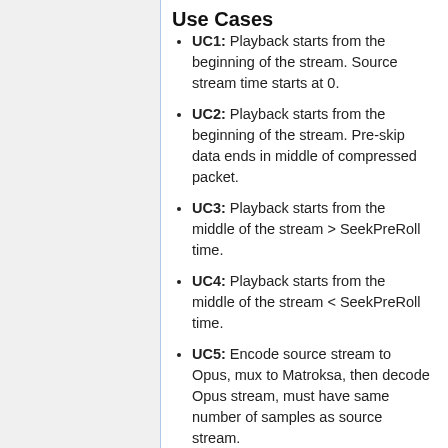Use Cases
UC1: Playback starts from the beginning of the stream. Source stream time starts at 0.
UC2: Playback starts from the beginning of the stream. Pre-skip data ends in middle of compressed packet.
UC3: Playback starts from the middle of the stream > SeekPreRoll time.
UC4: Playback starts from the middle of the stream < SeekPreRoll time.
UC5: Encode source stream to Opus, mux to Matroksa, then decode Opus stream, must have same number of samples as source stream.
Proposal 1: Timeshift the timestamps by pre-skip data